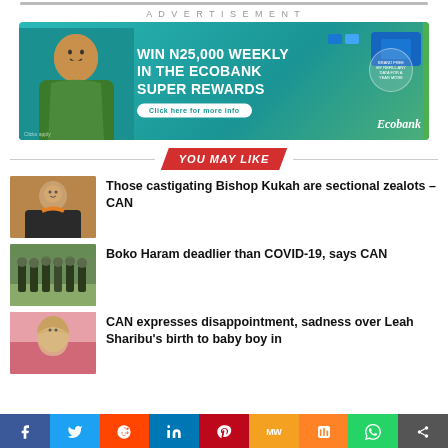[Figure (illustration): Top horizontal bar element]
ADVERTISEMENT
[Figure (illustration): Ecobank advertisement banner: WIN N25,000 WEEKLY IN THE ECOBANK SUPER REWARDS. Click here for more info. Ecobank logo.]
YOU MAY LIKE
[Figure (photo): Photo of Bishop Kukah]
Those castigating Bishop Kukah are sectional zealots – CAN
[Figure (photo): Photo related to Boko Haram military]
Boko Haram deadlier than COVID-19, says CAN
[Figure (photo): Photo related to Leah Sharibu story]
CAN expresses disappointment, sadness over Leah Sharibu's birth to baby boy in
f  Twitter  reddit  in  Pinterest  MW  Mix  WhatsApp  Share